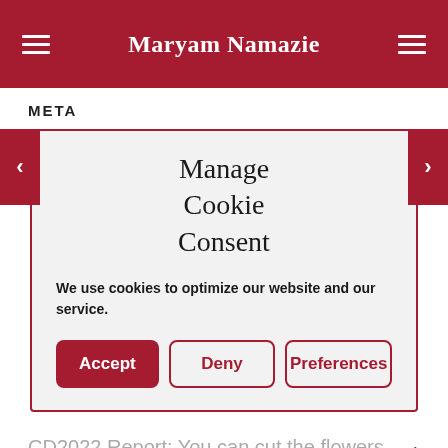Maryam Namazie
META
Manage Cookie Consent
We use cookies to optimize our website and our service.
CD2022 Report: You can cut the flowers but you cannot stop the Spring